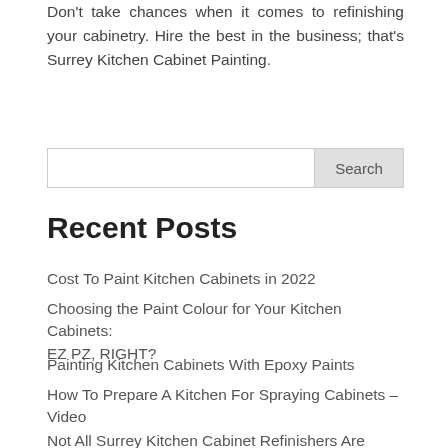Don't take chances when it comes to refinishing your cabinetry. Hire the best in the business; that's Surrey Kitchen Cabinet Painting.
Recent Posts
Cost To Paint Kitchen Cabinets in 2022
Choosing the Paint Colour for Your Kitchen Cabinets: EZ PZ, RIGHT?
Painting Kitchen Cabinets With Epoxy Paints
How To Prepare A Kitchen For Spraying Cabinets – Video
Not All Surrey Kitchen Cabinet Refinishers Are Equal